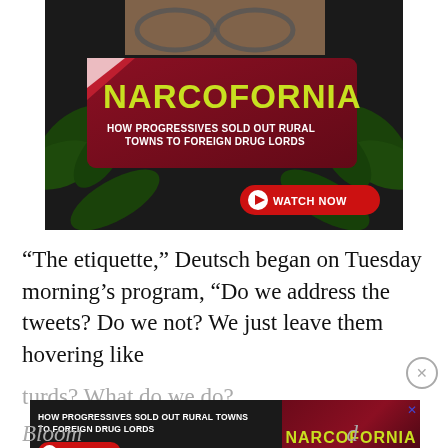[Figure (photo): Advertisement banner for 'Narcofornia' documentary with dark red card showing yellow title text 'NARCOFORNIA', subtitle 'HOW PROGRESSIVES SOLD OUT RURAL TOWNS TO FOREIGN DRUG LORDS', and a red WATCH NOW button. Background shows person with glasses and cannabis leaves.]
“The etiquette,” Deutsch began on Tuesday morning’s program, “Do we address the tweets? Do we not? We just leave them hovering like
turds? What do we do?
[Figure (screenshot): Secondary smaller advertisement overlay for Narcofornia documentary with same branding.]
Bloom                                                                d shocking: “Hovering like turds?”